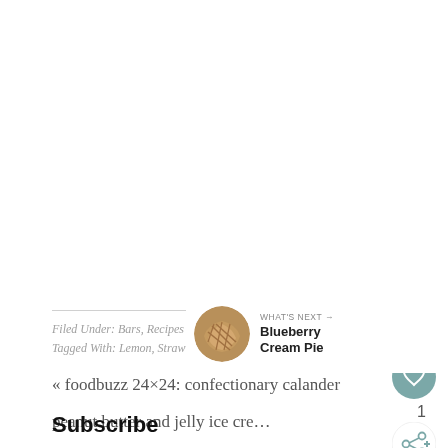Filed Under: Bars, Recipes
Tagged With: Lemon, Strawberry
« foodbuzz 24×24: confectionary calander
peanut butter and jelly ice cre…
[Figure (other): Heart/like button circle icon with heart symbol, teal/grey color]
1
[Figure (other): Share button circle icon]
[Figure (photo): Small circular thumbnail of a Blueberry Cream Pie with WHAT'S NEXT label]
WHAT'S NEXT → Blueberry Cream Pie
Subscribe